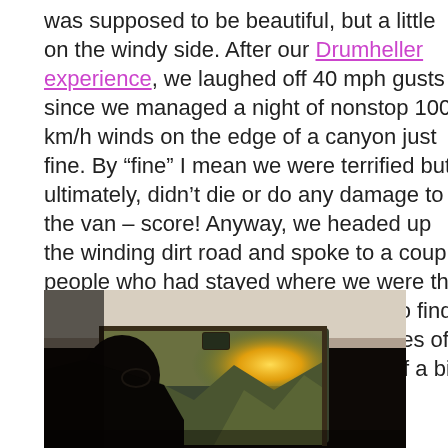was supposed to be beautiful, but a little on the windy side. After our Drumheller experience, we laughed off 40 mph gusts since we managed a night of nonstop 100 km/h winds on the edge of a canyon just fine. By “fine” I mean we were terrified but ultimately, didn’t die or do any damage to the van – score! Anyway, we headed up the winding dirt road and spoke to a couple people who had stayed where we were the night before and were on a mission to find a spot higher up the mountain in hopes of a less windy night. We’re not afraid of a bit of wind! Let’s stay! The view was spectacular, after all.
[Figure (photo): Interior view from inside a van looking through the windshield. A person's silhouette is visible on the left side, with the sun glowing brightly through the windshield and mountains visible in the background.]